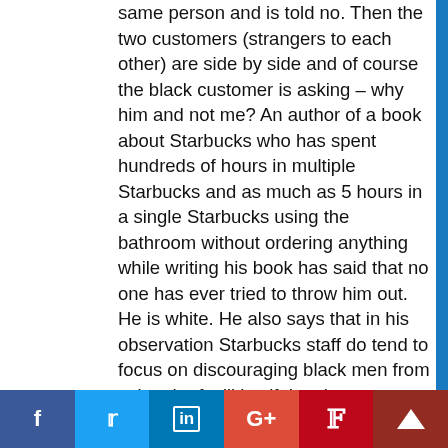same person and is told no. Then the two customers (strangers to each other) are side by side and of course the black customer is asking – why him and not me? An author of a book about Starbucks who has spent hundreds of hours in multiple Starbucks and as much as 5 hours in a single Starbucks using the bathroom without ordering anything while writing his book has said that no one has ever tried to throw him out. He is white. He also says that in his observation Starbucks staff do tend to focus on discouraging black men from using the facilities if they have not made a purchase prior to the request. That is how our society rolls I am afraid. As communicators, in crisis, we don't always have all the data. Sometimes we have to make judgement calls. That is part of communicating during crisis. If you overlook a key variable like race because you don't
Facebook Twitter LinkedIn Google+ Pinterest Crown